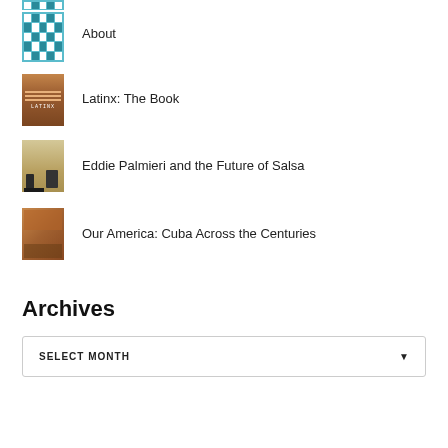[Figure (photo): Thumbnail image - teal pattern/about page icon (partially visible at top)]
About
[Figure (photo): Thumbnail image - Latinx: The Book book cover]
Latinx: The Book
[Figure (photo): Thumbnail image - Eddie Palmieri at piano]
Eddie Palmieri and the Future of Salsa
[Figure (photo): Thumbnail image - Our America: Cuba Across the Centuries exhibit]
Our America: Cuba Across the Centuries
Archives
SELECT MONTH